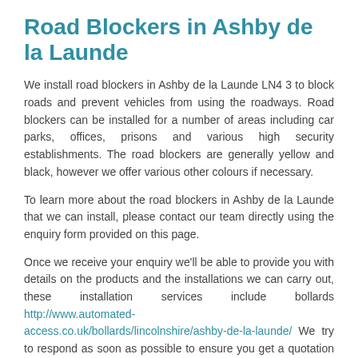Road Blockers in Ashby de la Launde
We install road blockers in Ashby de la Launde LN4 3 to block roads and prevent vehicles from using the roadways. Road blockers can be installed for a number of areas including car parks, offices, prisons and various high security establishments. The road blockers are generally yellow and black, however we offer various other colours if necessary.
To learn more about the road blockers in Ashby de la Launde that we can install, please contact our team directly using the enquiry form provided on this page.
Once we receive your enquiry we'll be able to provide you with details on the products and the installations we can carry out, these installation services include bollards http://www.automated-access.co.uk/bollards/lincolnshire/ashby-de-la-launde/ We try to respond as soon as possible to ensure you get a quotation for the road-blockers right away.